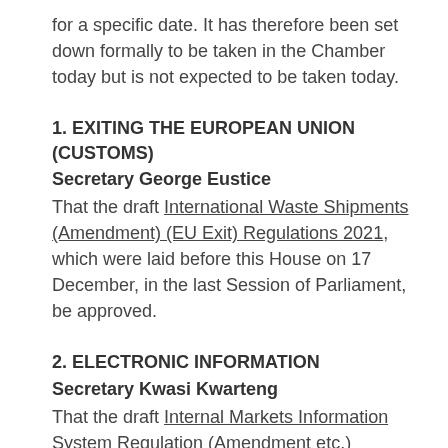for a specific date. It has therefore been set down formally to be taken in the Chamber today but is not expected to be taken today.
1. EXITING THE EUROPEAN UNION (CUSTOMS)
Secretary George Eustice
That the draft International Waste Shipments (Amendment) (EU Exit) Regulations 2021, which were laid before this House on 17 December, in the last Session of Parliament, be approved.
2. ELECTRONIC INFORMATION
Secretary Kwasi Kwarteng
That the draft Internal Markets Information System Regulation (Amendment etc.) Regulations 2021,